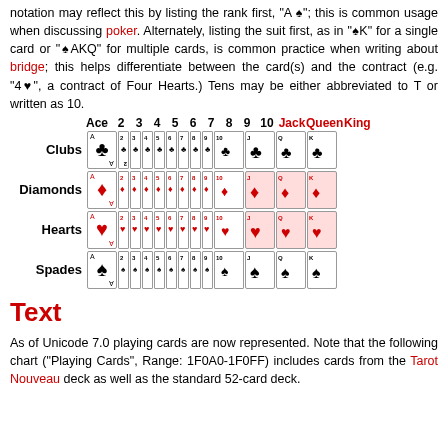notation may reflect this by listing the rank first, "A ♠"; this is common usage when discussing poker. Alternately, listing the suit first, as in "♠K" for a single card or "♠AKQ" for multiple cards, is common practice when writing about bridge; this helps differentiate between the card(s) and the contract (e.g. "4♥", a contract of Four Hearts.) Tens may be either abbreviated to T or written as 10.
[Figure (illustration): Table showing playing cards for all four suits (Clubs, Diamonds, Hearts, Spades) with columns for Ace through King]
Text
As of Unicode 7.0 playing cards are now represented. Note that the following chart ("Playing Cards", Range: 1F0A0-1F0FF) includes cards from the Tarot Nouveau deck as well as the standard 52-card deck.